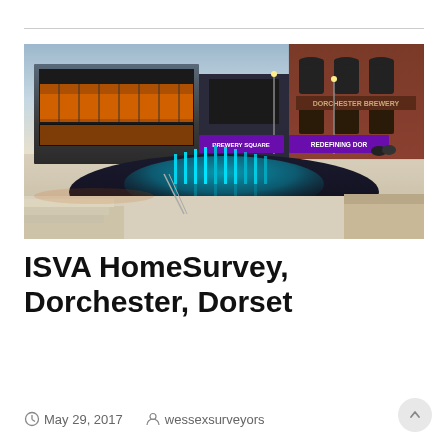[Figure (photo): Outdoor urban plaza at dusk featuring illuminated fountain with teal/cyan water jets, a modern glass-fronted building on the left with warm orange interior lighting, and a historic red-brick Dorchester Brewery building on the right. Purple banners read 'Brewery Square' and 'REDEFINING DOR'. The scene is reflected in the water feature.]
ISVA HomeSurvey, Dorchester, Dorset
May 29, 2017   wessexsurveyors